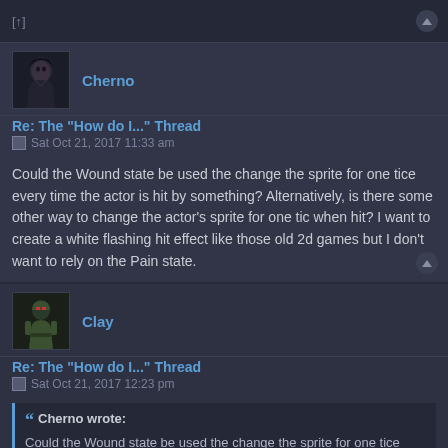[↑]
Cherno
Re: The "How do I..." Thread
Sat Oct 21, 2017 11:33 am
Could the Wound state be used the change the sprite for one tice every time the actor is hit by something? Alternatively, is there some other way to change the actor's sprite for one tic when hit? I want to create a white flashing hit effect like those old 2d games but I don't want to rely on the Pain state.
Clay
Re: The "How do I..." Thread
Sat Oct 21, 2017 12:23 pm
Cherno wrote:
Could the Wound state be used the change the sprite for one tice every time the actor is hit by something? Alternatively, is there some other way to change the actor's sprite for one tic when hit? I want to